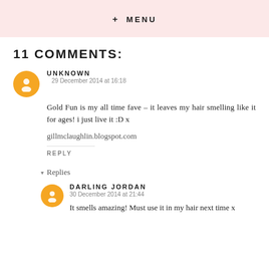+ MENU
11 COMMENTS:
UNKNOWN
29 December 2014 at 16:18
Gold Fun is my all time fave – it leaves my hair smelling like it for ages! i just live it :D x
gillmclaughlin.blogspot.com
REPLY
Replies
DARLING JORDAN
30 December 2014 at 21:44
It smells amazing! Must use it in my hair next time x